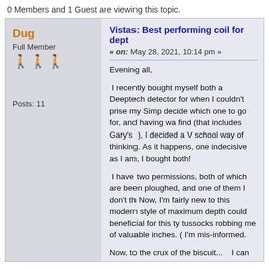0 Members and 1 Guest are viewing this topic.
Vistas: Best performing coil for dept
« on: May 28, 2021, 10:14 pm »
Dug
Full Member
Posts: 11
Evening all,

 I recently bought myself both a Deeptech detector for when I couldn't prise my Simp decide which one to go for, and having wa find (that includes Gary's ), I decided a V school way of thinking. As it happens, one indecisive as I am, I bought both!

 I have two permissions, both of which are been ploughed, and one of them I don't th Now, I'm fairly new to this modern style of maximum depth could beneficial for this ty tussocks robbing me of valuable inches. ( I'm mis-informed.

Now, to the crux of the biscuit...    I can se once popular on here so I was wondering experience with either the 14" Epic or the the 'better' coil for depth. I'm aware that th proportionately deeper, as the more con